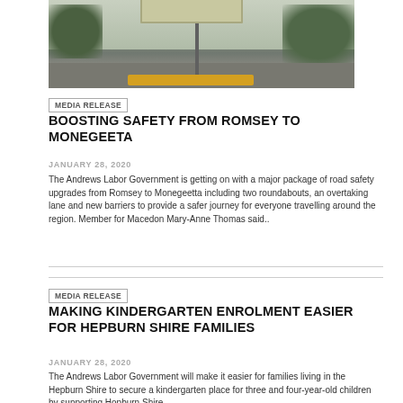[Figure (photo): Road sign on a pole along a highway, with trees visible in the background and a yellow base. Overcast sky.]
MEDIA RELEASE
BOOSTING SAFETY FROM ROMSEY TO MONEGEETA
JANUARY 28, 2020
The Andrews Labor Government is getting on with a major package of road safety upgrades from Romsey to Monegeetta including two roundabouts, an overtaking lane and new barriers to provide a safer journey for everyone travelling around the region. Member for Macedon Mary-Anne Thomas said..
MEDIA RELEASE
MAKING KINDERGARTEN ENROLMENT EASIER FOR HEPBURN SHIRE FAMILIES
JANUARY 28, 2020
The Andrews Labor Government will make it easier for families living in the Hepburn Shire to secure a kindergarten place for three and four-year-old children by supporting Hopburn Shire